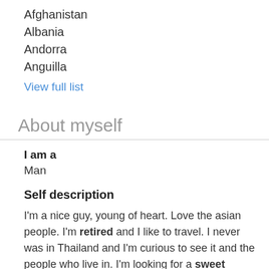Afghanistan
Albania
Andorra
Anguilla
View full list
About myself
I am a
Man
Self description
I'm a nice guy, young of heart. Love the asian people. I'm retired and I like to travel. I never was in Thailand and I'm curious to see it and the people who live in. I'm looking for a sweet woman and I know they are in Thailand. Hope you will contact me.